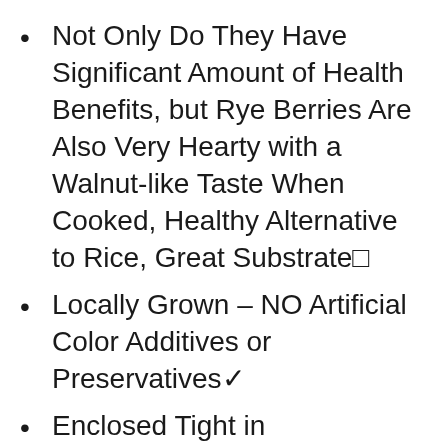Not Only Do They Have Significant Amount of Health Benefits, but Rye Berries Are Also Very Hearty with a Walnut-like Taste When Cooked, Healthy Alternative to Rice, Great Substrate□
Locally Grown – NO Artificial Color Additives or Preservatives✓
Enclosed Tight in Polypropylene Bags – 10 LBS (Double-Sealed)✓
100% USDA Certified Organic